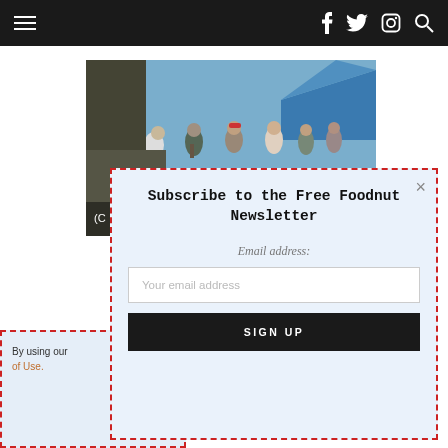Navigation bar with hamburger menu, Facebook, Twitter, Instagram, and Search icons
[Figure (photo): Outdoor street market scene viewed from above, showing people browsing stalls with a blue tent canopy on the right side]
By using our... of Use.
Subscribe to the Free Foodnut Newsletter

Email address:

Your email address

SIGN UP